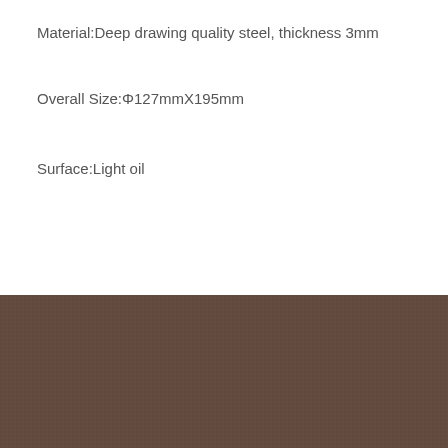Material:Deep drawing quality steel, thickness 3mm
Overall Size:Φ127mmX195mm
Surface:Light oil
FEEDBACK
We sincerely welcome domestic and foreign merchants to discuss cooperation and work together to create a better future!